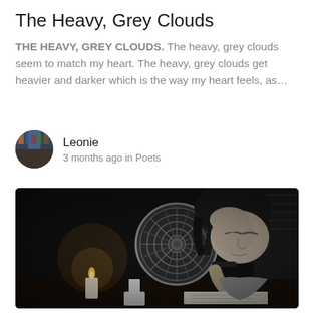The Heavy, Grey Clouds
THE HEAVY, GREY CLOUDS. The heavy, grey clouds seem to match my heart. The heavy, grey clouds get heavier and darker which is the way my heart feels, as…
Leonie
3 months ago in Poets
[Figure (photo): Black and white photograph of a young person with long dark hair resting their head on their hand while sitting in front of a desk fan, with a lit candle in the foreground, reading or studying]